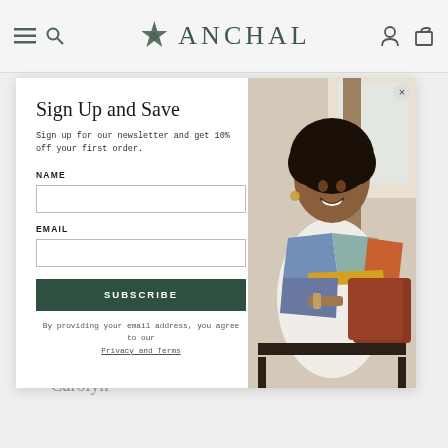ANCHAL
Sign Up and Save
Sign up for our newsletter and get 10% off your first order.
NAME
EMAIL
SUBSCRIBE
By providing your email address, you agree to our Privacy and Terms
[Figure (photo): Woman sitting on a bench wearing a colorful patchwork jacket in blue, orange, and gray tones over a white outfit, smiling.]
— Carolyn